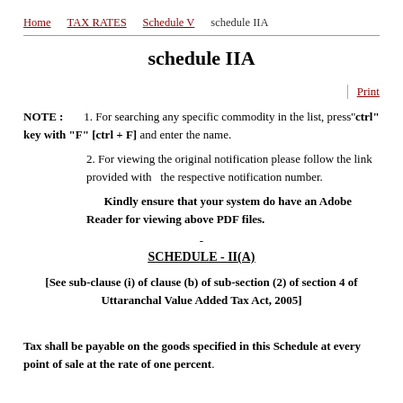Home  TAX RATES  Schedule V  schedule IIA
schedule IIA
Print
NOTE : 1. For searching any specific commodity in the list, press''ctrl'' key with "F" [ctrl + F] and enter the name.
2. For viewing the original notification please follow the link provided with the respective notification number.
Kindly ensure that your system do have an Adobe Reader for viewing above PDF files.
-
SCHEDULE - II(A)
[See sub-clause (i) of clause (b) of sub-section (2) of section 4 of Uttaranchal Value Added Tax Act, 2005]
Tax shall be payable on the goods specified in this Schedule at every point of sale at the rate of one percent.